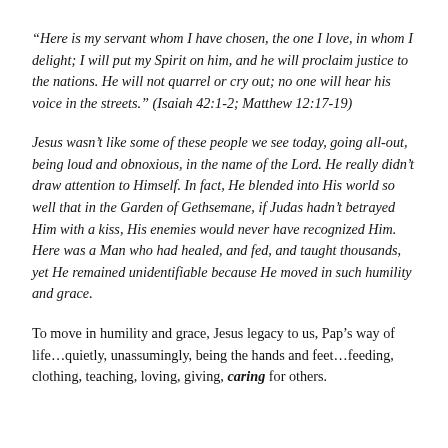“Here is my servant whom I have chosen, the one I love, in whom I delight; I will put my Spirit on him, and he will proclaim justice to the nations. He will not quarrel or cry out; no one will hear his voice in the streets.” (Isaiah 42:1-2; Matthew 12:17-19)
Jesus wasn’t like some of these people we see today, going all-out, being loud and obnoxious, in the name of the Lord. He really didn’t draw attention to Himself. In fact, He blended into His world so well that in the Garden of Gethsemane, if Judas hadn’t betrayed Him with a kiss, His enemies would never have recognized Him. Here was a Man who had healed, and fed, and taught thousands, yet He remained unidentifiable because He moved in such humility and grace.
To move in humility and grace, Jesus legacy to us, Pap’s way of life…quietly, unassumingly, being the hands and feet…feeding, clothing, teaching, loving, giving, caring for others.